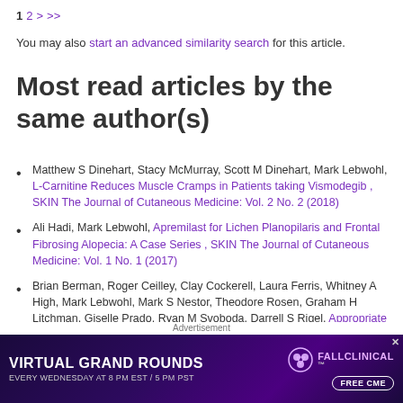1 2 > >>
You may also start an advanced similarity search for this article.
Most read articles by the same author(s)
Matthew S Dinehart, Stacy McMurray, Scott M Dinehart, Mark Lebwohl, L-Carnitine Reduces Muscle Cramps in Patients taking Vismodegib , SKIN The Journal of Cutaneous Medicine: Vol. 2 No. 2 (2018)
Ali Hadi, Mark Lebwohl, Apremilast for Lichen Planopilaris and Frontal Fibrosing Alopecia: A Case Series , SKIN The Journal of Cutaneous Medicine: Vol. 1 No. 1 (2017)
Brian Berman, Roger Ceilley, Clay Cockerell, Laura Ferris, Whitney A High, Mark Lebwohl, Mark S Nestor, Theodore Rosen, Graham H Litchman, Giselle Prado, Ryan M Svoboda, Darrell S Rigel, Appropriate Use Criteria for the Integration of Diagnostic and Prognostic Gene Expression Profile Assess...
Advertisement
[Figure (infographic): Advertisement banner for VIRTUAL GRAND ROUNDS - FALLCLINICAL, Every Wednesday at 8 PM EST / 5 PM PST, Free CME, purple space-themed background]